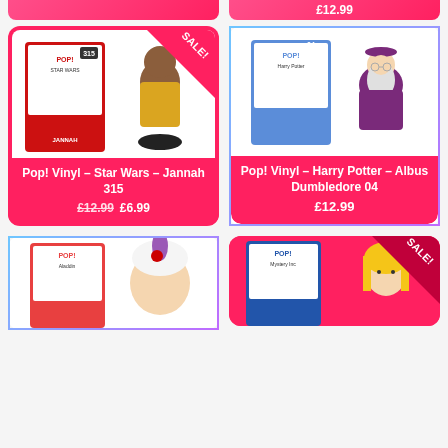£12.99
[Figure (photo): Funko Pop! Vinyl - Star Wars - Jannah #315 product image showing box and figure. Red sale badge in corner.]
Pop! Vinyl - Star Wars - Jannah 315
£12.99  £6.99
[Figure (photo): Funko Pop! Vinyl - Harry Potter - Albus Dumbledore #04 product image showing box and figure.]
Pop! Vinyl - Harry Potter - Albus Dumbledore 04
£12.99
[Figure (photo): Funko Pop! Vinyl - Aladdin #475 product image showing box and figure (partial, bottom of page).]
[Figure (photo): Funko Pop! Vinyl figure with Sale badge (partial, bottom of page). Blonde character visible.]